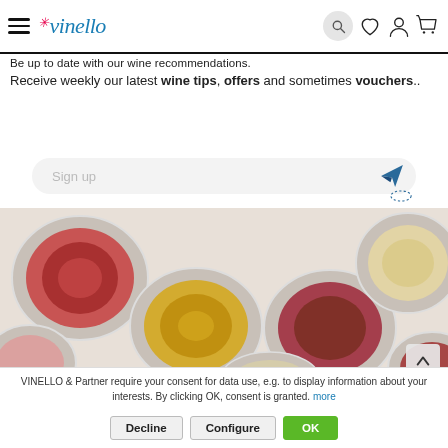vinello — navigation bar with hamburger menu, logo, search, heart, user, cart icons
Be up to date with our wine recommendations. Receive weekly our latest wine tips, offers and sometimes vouchers..
[Figure (screenshot): Sign up input field with placeholder text 'Sign up' and a paper plane send icon, with a dashed circle cursor below the icon]
[Figure (photo): Overhead flat-lay photo of multiple wine glasses filled with red, yellow/white, rosé wine on a white wooden surface]
VINELLO & Partner require your consent for data use, e.g. to display information about your interests. By clicking OK, consent is granted. more
Decline
Configure
OK